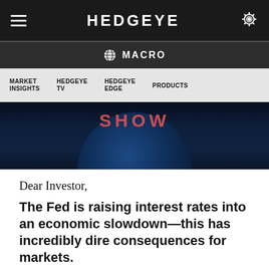HEDGEYE
MACRO
MARKET INSIGHTS   HEDGEYE TV   HEDGEYE EDGE   PRODUCTS
[Figure (screenshot): Dark hero image with a globe and the word SHOW in red/coral letters against a deep blue/dark background]
Dear Investor,
The Fed is raising interest rates into an economic slowdown—this has incredibly dire consequences for markets.
Hedgeye CEO Keith McCullough hosted a